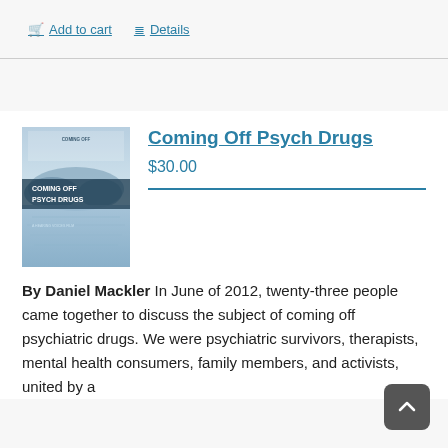Add to cart   Details
[Figure (illustration): Book cover for 'Coming Off Psych Drugs' showing a calm lake and mountains with text overlay]
Coming Off Psych Drugs
$30.00
By Daniel Mackler In June of 2012, twenty-three people came together to discuss the subject of coming off psychiatric drugs. We were psychiatric survivors, therapists, mental health consumers, family members, and activists, united by a